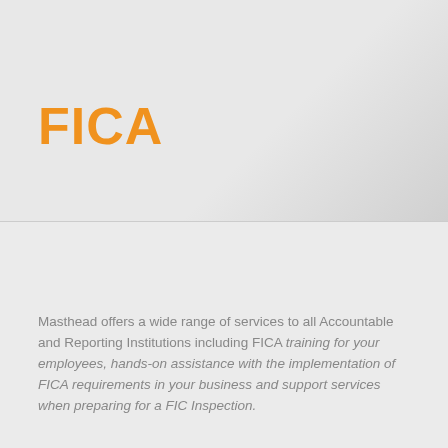FICA
Masthead offers a wide range of services to all Accountable and Reporting Institutions including FICA training for your employees, hands-on assistance with the implementation of FICA requirements in your business and support services when preparing for a FIC Inspection.